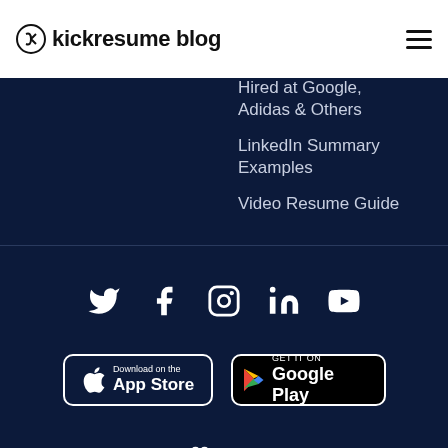kickresume blog
Hired at Google, Adidas & Others
LinkedIn Summary Examples
Video Resume Guide
[Figure (infographic): Social media icons row: Twitter, Facebook, Instagram, LinkedIn, YouTube]
[Figure (infographic): App store badges: Download on the App Store and Get it on Google Play]
Made with ♥ by Kickresume ©